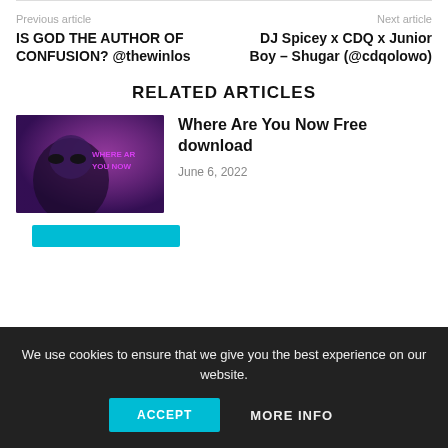Previous article
IS GOD THE AUTHOR OF CONFUSION? @thewinlos
Next article
DJ Spicey x CDQ x Junior Boy – Shugar (@cdqolowo)
RELATED ARTICLES
[Figure (photo): Album art or promotional image for 'Where Are You Now' — dark photo of a person in sunglasses with purple/pink neon lighting and text overlay 'WHERE ARE YOU NOW']
Where Are You Now Free download
June 6, 2022
We use cookies to ensure that we give you the best experience on our website.
ACCEPT
MORE INFO